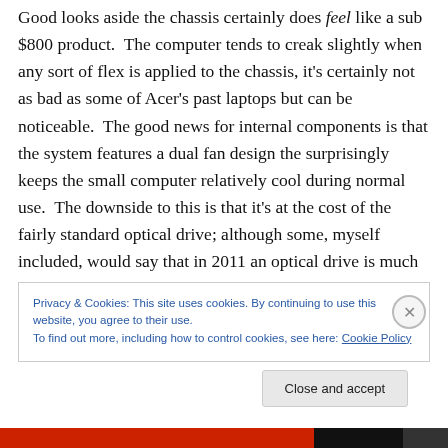Good looks aside the chassis certainly does feel like a sub $800 product.  The computer tends to creak slightly when any sort of flex is applied to the chassis, it's certainly not as bad as some of Acer's past laptops but can be noticeable.  The good news for internal components is that the system features a dual fan design the surprisingly keeps the small computer relatively cool during normal use.  The downside to this is that it's at the cost of the fairly standard optical drive; although some, myself included, would say that in 2011 an optical drive is much less of a requirement than it was say five years ago.
Privacy & Cookies: This site uses cookies. By continuing to use this website, you agree to their use.
To find out more, including how to control cookies, see here: Cookie Policy